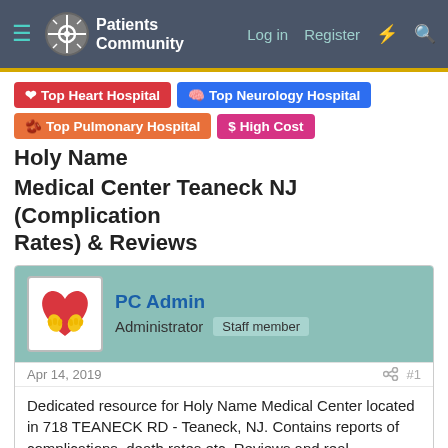Patients Community | Log in | Register
Top Heart Hospital | Top Neurology Hospital | Top Pulmonary Hospital | High Cost Holy Name Medical Center Teaneck NJ (Complication Rates) & Reviews
PC Admin
Administrator Staff member
Apr 14, 2019   #1
Dedicated resource for Holy Name Medical Center located in 718 TEANECK RD - Teaneck, NJ. Contains reports of complications, death rates etc. Reviews and real experiences of patients and their loved ones are invited. The treatment and medical care statistics listed below are updated and synced twice a year as